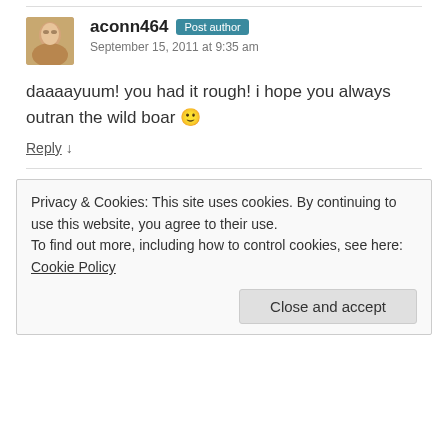aconn464  Post author
September 15, 2011 at 9:35 am
daaaayuum! you had it rough! i hope you always outran the wild boar 🙂
Reply ↓
Privacy & Cookies: This site uses cookies. By continuing to use this website, you agree to their use.
To find out more, including how to control cookies, see here: Cookie Policy
Close and accept